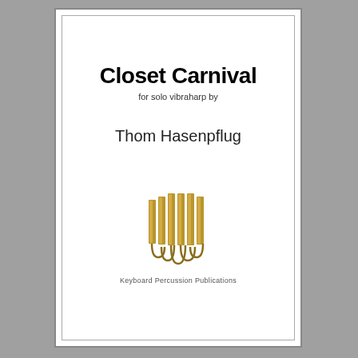Closet Carnival
for solo vibraharp by
Thom Hasenpflug
[Figure (logo): Keyboard Percussion Publications logo — stylized marimba/vibraphone bars in gold/brown tones forming a trapezoid shape]
Keyboard Percussion Publications